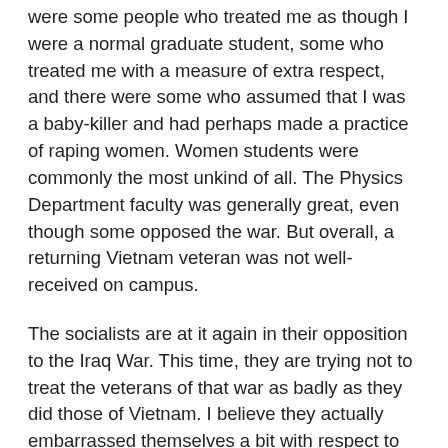were some people who treated me as though I were a normal graduate student, some who treated me with a measure of extra respect, and there were some who assumed that I was a baby-killer and had perhaps made a practice of raping women. Women students were commonly the most unkind of all. The Physics Department faculty was generally great, even though some opposed the war. But overall, a returning Vietnam veteran was not well-received on campus.
The socialists are at it again in their opposition to the Iraq War. This time, they are trying not to treat the veterans of that war as badly as they did those of Vietnam. I believe they actually embarrassed themselves a bit with respect to their behavior after Vietnam toward veterans. Or maybe they just realized in time that it had not been particularly smart politically. Nonetheless, when your country largely repudiates the reasons for which you fought your war, you will feel unappreciated as a veteran. The socialists like to blame the war on Bush, despite Saddam's making a regular habit of shooting at American aircraft and despite Congress stating that there were 23 reasons for our continuing the war with